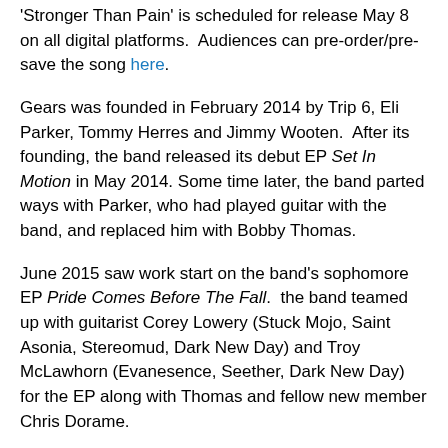'Stronger Than Pain' is scheduled for release May 8 on all digital platforms. Audiences can pre-order/pre-save the song here.
Gears was founded in February 2014 by Trip 6, Eli Parker, Tommy Herres and Jimmy Wooten. After its founding, the band released its debut EP Set In Motion in May 2014. Some time later, the band parted ways with Parker, who had played guitar with the band, and replaced him with Bobby Thomas.
June 2015 saw work start on the band's sophomore EP Pride Comes Before The Fall. the band teamed up with guitarist Corey Lowery (Stuck Mojo, Saint Asonia, Stereomud, Dark New Day) and Troy McLawhorn (Evanesence, Seether, Dark New Day) for the EP along with Thomas and fellow new member Chris Dorame.